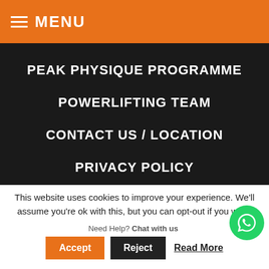≡ MENU
PEAK PHYSIQUE PROGRAMME
POWERLIFTING TEAM
CONTACT US / LOCATION
PRIVACY POLICY
COOKIES POLICY
[Figure (infographic): Social media icons: Facebook, Twitter, Instagram, YouTube, LinkedIn]
This website uses cookies to improve your experience. We'll assume you're ok with this, but you can opt-out if you wish.
Need Help? Chat with us
Accept
Reject
Read More